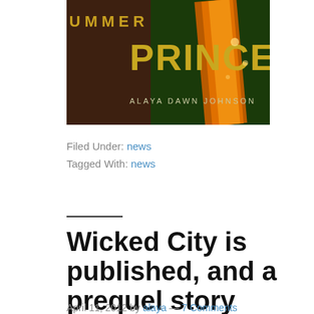[Figure (illustration): Book cover of 'Summer Prince' by Alaya Dawn Johnson — dark background with large gold/yellow text reading PRINCE and subtitle text ALAYA DAWN JOHNSON, with decorative bokeh/glowing elements]
Filed Under: news
Tagged With: news
Wicked City is published, and a prequel story
April 11, 2012 by alaya — 7 Comments